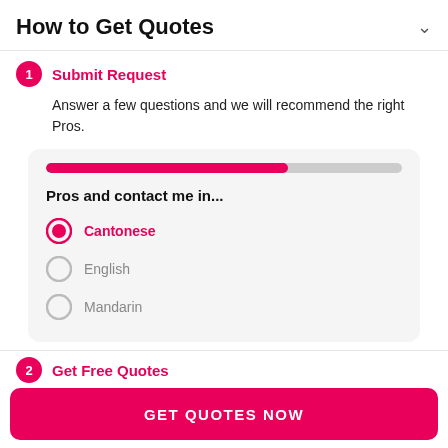How to Get Quotes
1 Submit Request
Answer a few questions and we will recommend the right Pros.
[Figure (screenshot): A form card with a pink/gray progress bar (~68% filled), a question 'Pros and contact me in...', and three radio button options: Cantonese (selected, pink), English (unselected, gray), Mandarin (unselected, gray).]
2 Get Free Quotes
GET QUOTES NOW